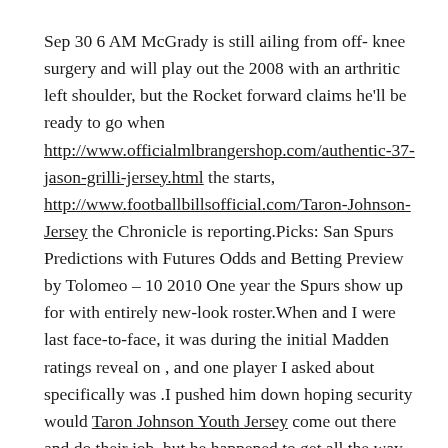Sep 30 6 AM McGrady is still ailing from off- knee surgery and will play out the 2008 with an arthritic left shoulder, but the Rocket forward claims he'll be ready to go when http://www.officialmlbrangershop.com/authentic-37-jason-grilli-jersey.html the starts, http://www.footballbillsofficial.com/Taron-Johnson-Jersey the Chronicle is reporting.Picks: San Spurs Predictions with Futures Odds and Betting Preview by Tolomeo – 10 2010 One year the Spurs show up for with entirely new-look roster.When and I were last face-to-face, it was during the initial Madden ratings reveal on , and one player I asked about specifically was .I pushed him down hoping security would Taron Johnson Youth Jersey come out there and do their job, but he happened to get all the way across the field.There's some perspective for you.